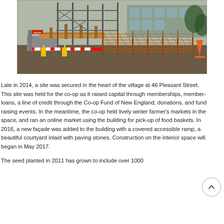[Figure (photo): Construction site photo showing building under construction with wooden framing, scaffolding, orange safety fencing, and construction materials on the ground.]
Late in 2014, a site was secured in the heart of the village at 46 Pleasant Street. This site was held for the co-op as it raised capital through memberships, member-loans, a line of credit through the Co-op Fund of New England, donations, and fund raising events. In the meantime, the co-op held lively winter farmer's markets in the space, and ran an online market using the building for pick-up of food baskets. In 2016, a new façade was added to the building with a covered accessible ramp, a beautiful courtyard inlaid with paving stones. Construction on the interior space will began in May 2017.
The seed planted in 2011 has grown to include over 1000 members...